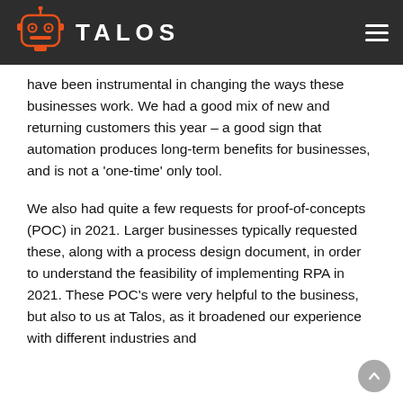TALOS
have been instrumental in changing the ways these businesses work. We had a good mix of new and returning customers this year – a good sign that automation produces long-term benefits for businesses, and is not a 'one-time' only tool.
We also had quite a few requests for proof-of-concepts (POC) in 2021. Larger businesses typically requested these, along with a process design document, in order to understand the feasibility of implementing RPA in 2021. These POC's were very helpful to the business, but also to us at Talos, as it broadened our experience with different industries and